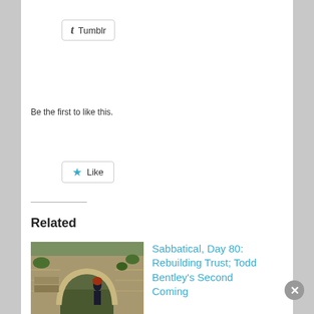[Figure (screenshot): Tumblr share button with 't' icon]
[Figure (screenshot): Like button with blue star icon]
Be the first to like this.
Related
[Figure (photo): Outdoor stone archway/steps scene with a person standing by the arch]
Todd Bentley
September 3, 2008
In "Religion"
Sabbatical, Day 80: Rebuilding Trust; Todd Bentley’s Second Coming
A Christian businessman friend of mine, Dan Collins (his company is Fresh Tracks), twittered an
April 21, 2009
Advertisements